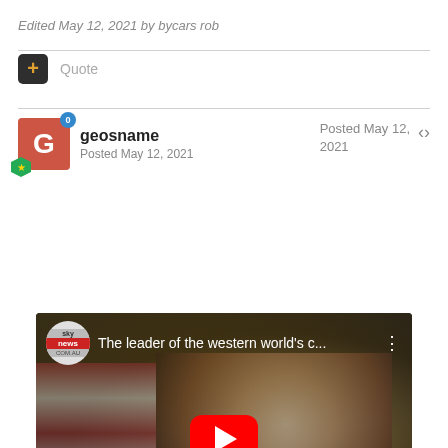Edited May 12, 2021 by bycars rob
Quote
[Figure (screenshot): Forum post by user 'geosname' posted May 12, 2021, containing an embedded YouTube video thumbnail from Sky News Australia titled 'The leader of the western world's c...' showing a smiling older man in a suit in front of an American flag, with a large red YouTube play button overlay.]